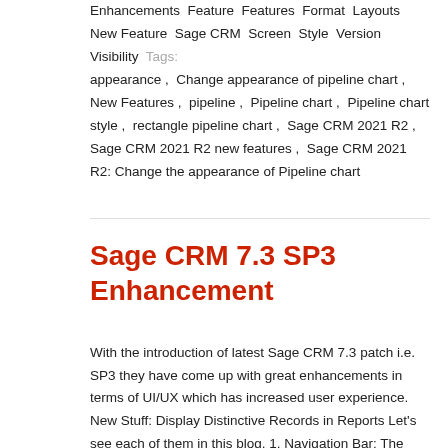Enhancements Feature Features Format Layouts New Feature Sage CRM Screen Style Version Visibility Tags: appearance , Change appearance of pipeline chart , New Features , pipeline , Pipeline chart , Pipeline chart style , rectangle pipeline chart , Sage CRM 2021 R2 , Sage CRM 2021 R2 new features , Sage CRM 2021 R2: Change the appearance of Pipeline chart
Sage CRM 7.3 SP3 Enhancement
With the introduction of latest Sage CRM 7.3 patch i.e. SP3 they have come up with great enhancements in terms of UI/UX which has increased user experience. New Stuff: Display Distinctive Records in Reports Let's see each of them in this blog. 1. Navigation Bar: The navigation bar is now more fit to screen and has… Read More »